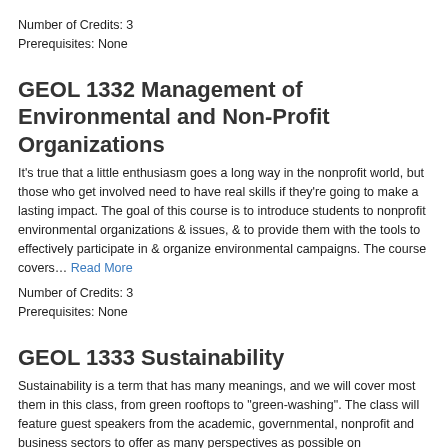Number of Credits: 3
Prerequisites: None
GEOL 1332 Management of Environmental and Non-Profit Organizations
It's true that a little enthusiasm goes a long way in the nonprofit world, but those who get involved need to have real skills if they're going to make a lasting impact. The goal of this course is to introduce students to nonprofit environmental organizations & issues, & to provide them with the tools to effectively participate in & organize environmental campaigns. The course covers... Read More
Number of Credits: 3
Prerequisites: None
GEOL 1333 Sustainability
Sustainability is a term that has many meanings, and we will cover most them in this class, from green rooftops to "green-washing". The class will feature guest speakers from the academic, governmental, nonprofit and business sectors to offer as many perspectives as possible on sustainability topics. The real focus of the class, though, is the development of new and the continuation of existing... Read More
Number of Credits: 3